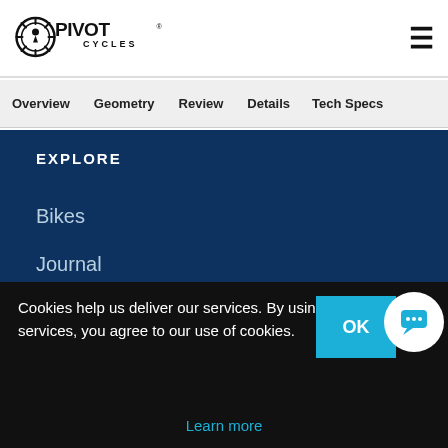[Figure (logo): Pivot Cycles logo — circular gear icon with stylized rider and bold PIVOT CYCLES wordmark]
Overview  Geometry  Review  Details  Tech Specs
EXPLORE
Bikes
Journal
Archive
Cookies help us deliver our services. By using our services, you agree to our use of cookies.
Learn more